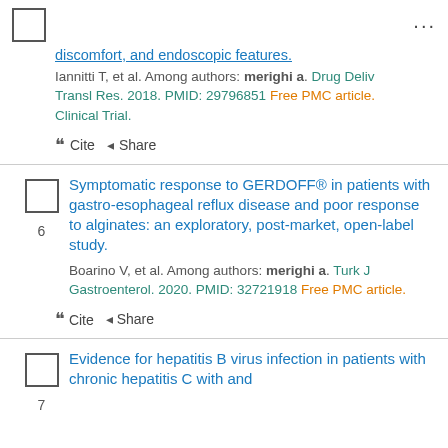discomfort, and endoscopic features.
Iannitti T, et al. Among authors: merighi a. Drug Deliv Transl Res. 2018. PMID: 29796851 Free PMC article. Clinical Trial.
" Cite  Share
Symptomatic response to GERDOFF® in patients with gastro-esophageal reflux disease and poor response to alginates: an exploratory, post-market, open-label study.
Boarino V, et al. Among authors: merighi a. Turk J Gastroenterol. 2020. PMID: 32721918 Free PMC article.
" Cite  Share
Evidence for hepatitis B virus infection in patients with chronic hepatitis C with and